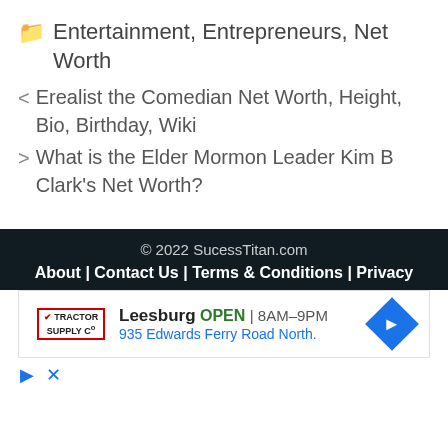Entertainment, Entrepreneurs, Net Worth
< Erealist the Comedian Net Worth, Height, Bio, Birthday, Wiki
> What is the Elder Mormon Leader Kim B Clark's Net Worth?
© 2022 SucessTitan.com | About | Contact Us | Terms & Conditions | Privacy
[Figure (other): Advertisement for Tractor Supply Co. in Leesburg, OPEN 8AM-9PM, 935 Edwards Ferry Road North.]